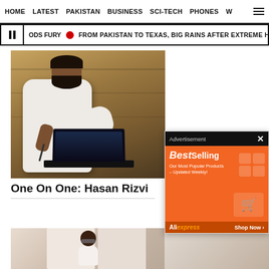HOME  LATEST  PAKISTAN  BUSINESS  SCI-TECH  PHONES  W
ODS FURY  FROM PAKISTAN TO TEXAS, BIG RAINS AFTER EXTREME HEAT DELIVER
[Figure (photo): Man in white traditional shalwar kameez sitting at a desk with a laptop, working with a pen/stylus]
One On One: Hasan Rizvi
[Figure (photo): Woman with glasses and dark hair sitting, shown from waist up, light background]
[Figure (advertisement): BestSelling advertisement banner from AliExpress showing Best Selling products with shop now button on orange background]